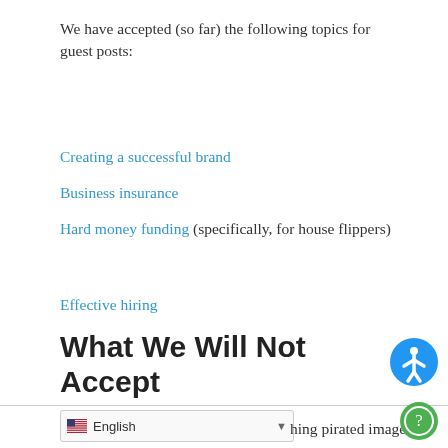We have accepted (so far) the following topics for guest posts:
Creating a successful brand
Business insurance
Hard money funding (specifically, for house flippers)
Effective hiring
What We Will Not Accept
The following are not acceptable to us:
Anything covered on our blog before. Please search our site before submitting your post.
Anything which could be construed as a link-building scheme.
…ing pirated images